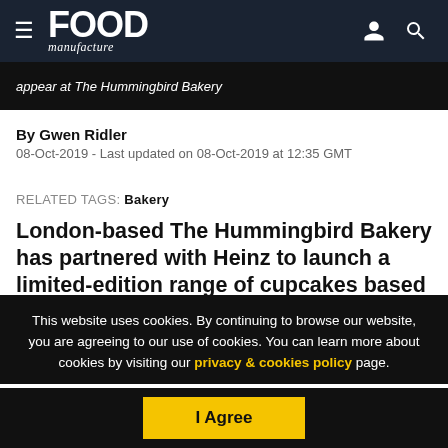FOOD manufacture
[Figure (screenshot): Dark image bar with italic text: appear at The Hummingbird Bakery]
By Gwen Ridler
08-Oct-2019 - Last updated on 08-Oct-2019 at 12:35 GMT
RELATED TAGS: Bakery
London-based The Hummingbird Bakery has partnered with Heinz to launch a limited-edition range of cupcakes based on the manufacturer's
This website uses cookies. By continuing to browse our website, you are agreeing to our use of cookies. You can learn more about cookies by visiting our privacy & cookies policy page.
I Agree